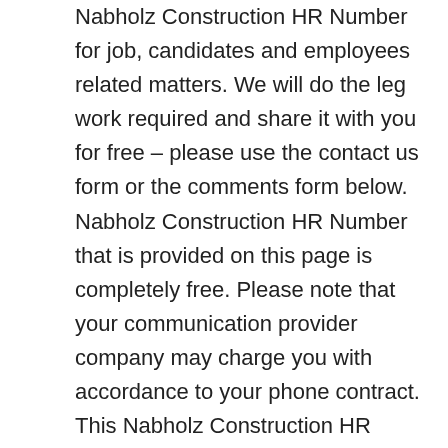Nabholz Construction HR Number for job, candidates and employees related matters. We will do the leg work required and share it with you for free – please use the contact us form or the comments form below. Nabholz Construction HR Number that is provided on this page is completely free. Please note that your communication provider company may charge you with accordance to your phone contract. This Nabholz Construction HR Number will connect you with a real person at the department of human resources to assist you with your issue.